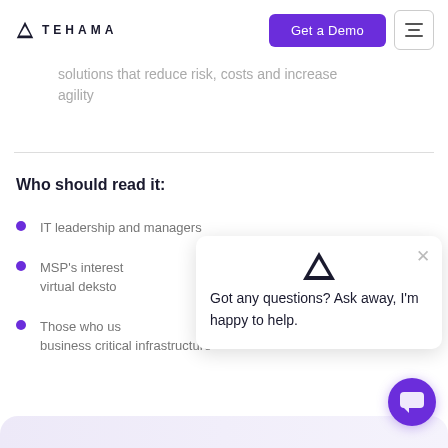TEHAMA — Get a Demo
solutions that reduce risk, costs and increase agility
Who should read it:
IT leadership and managers
MSP's interested in virtual desktop
Those who use business critical infrastructure
[Figure (screenshot): Chat popup with Tehama logo icon showing text: Got any questions? Ask away, I'm happy to help. With an X close button and a purple chat circle button in the bottom right.]